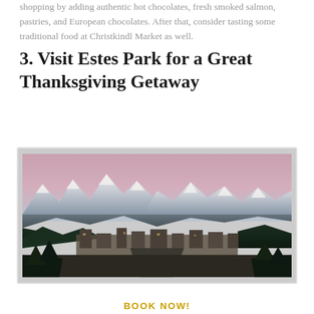shopping by adding authentic hot chocolates, fresh smoked salmon, pastries, and European chocolates. After that, consider tasting some traditional food at Christkindl Market as well.
3. Visit Estes Park for a Great Thanksgiving Getaway
[Figure (photo): Aerial/elevated view of Estes Park, Colorado, with snow-capped Rocky Mountains in the background under a pinkish-purple dusk sky. The town is visible in the foreground with a main road running through it, surrounded by evergreen forests.]
BOOK NOW!